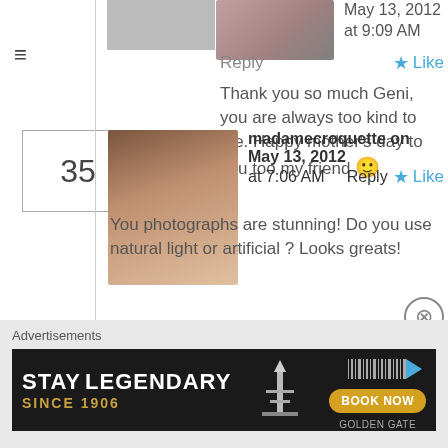May 13, 2012 at 9:09 AM
Reply
Like
Thank you so much Geni, you are always too kind to me. Happy mother's day to you too my friend 🙂
35
madamecroquette on May 13, 2012 at 7:06 AM
Reply
Like
You photographs are stunning! Do you use natural light or artificial ? Looks greats!
Advertisements
[Figure (photo): Advertisement banner: STAY LEGENDARY SINCE 1906 GOLDEN GATE with BOOK NOW button]